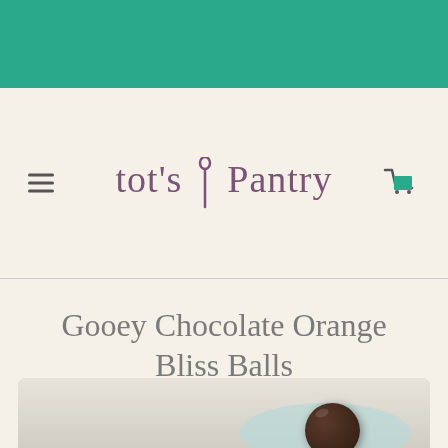[Figure (other): Teal/green decorative bar at top of page header]
[Figure (logo): Tot's Pantry logo with spoon icon between 'tots' and 'Pantry' text in purple/mauve color, with hamburger menu icon on left and shopping cart icon on right]
Gooey Chocolate Orange Bliss Balls
[Figure (photo): Partial photo at bottom showing a dark chocolate bliss ball on a light blue/mint plate, with blurred background]